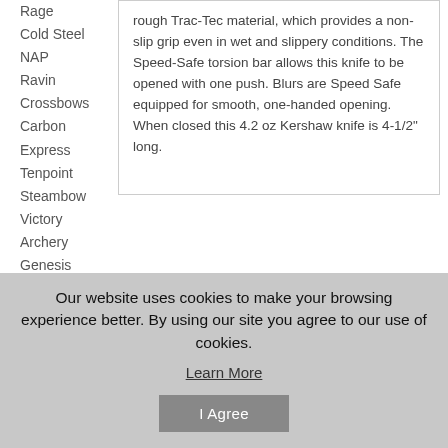Rage
Cold Steel
NAP
Ravin
Crossbows
Carbon Express
Tenpoint
Steambow
Victory Archery
Genesis
Bear Archery
rough Trac-Tec material, which provides a non-slip grip even in wet and slippery conditions. The Speed-Safe torsion bar allows this knife to be opened with one push. Blurs are Speed Safe equipped for smooth, one-handed opening. When closed this 4.2 oz Kershaw knife is 4-1/2" long.
Our website uses cookies to make your browsing experience better. By using our site you agree to our use of cookies.
Learn More
I Agree